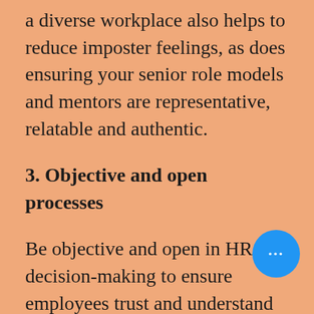a diverse workplace also helps to reduce imposter feelings, as does ensuring your senior role models and mentors are representative, relatable and authentic.
3. Objective and open processes
Be objective and open in HR decision-making to ensure employees trust and understand that the processes and structures relating to their careers are fair. For example, stick to objective and formal recruitment, promotion, pay and performance processes.
For individuals experiencing imposter feelings